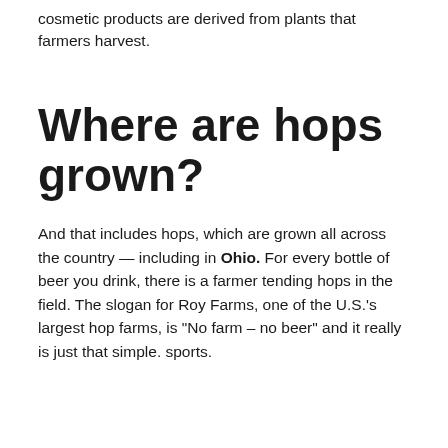cosmetic products are derived from plants that farmers harvest.
Where are hops grown?
And that includes hops, which are grown all across the country — including in Ohio. For every bottle of beer you drink, there is a farmer tending hops in the field. The slogan for Roy Farms, one of the U.S.'s largest hop farms, is “No farm – no beer” and it really is just that simple. sports.